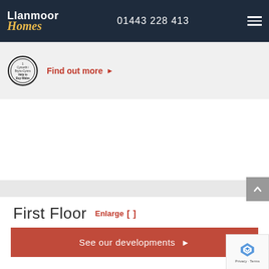Llanmoor Homes — 01443 228 413
[Figure (logo): Help to Buy Wales / Cymorth i Brynu-Cymru circular badge logo]
Find out more ▶
First Floor  Enlarge [  ]
See our developments ▶